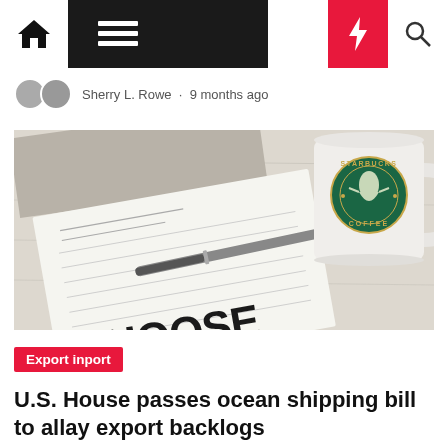Navigation bar with home, menu, moon, bolt, search icons
Sherry L. Rowe · 9 months ago
[Figure (photo): A Starbucks coffee mug beside an open notebook with a pen on top, showing partial text 'CHOOSE TO' on the notebook page, on a light wooden surface.]
Export inport
U.S. House passes ocean shipping bill to allay export backlogs